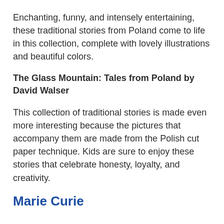Enchanting, funny, and intensely entertaining, these traditional stories from Poland come to life in this collection, complete with lovely illustrations and beautiful colors.
The Glass Mountain: Tales from Poland by David Walser
This collection of traditional stories is made even more interesting because the pictures that accompany them are made from the Polish cut paper technique. Kids are sure to enjoy these stories that celebrate honesty, loyalty, and creativity.
Marie Curie